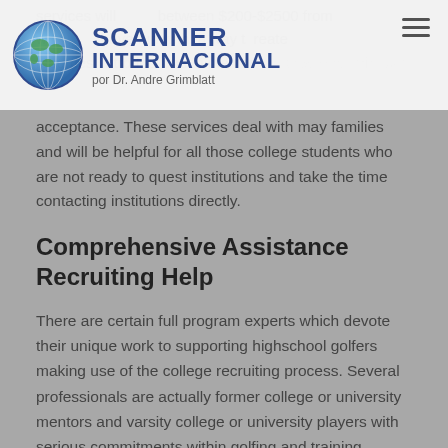SCANNER INTERNACIONAL por Dr. Andre Grimblatt
services will between $200-$2500 from what have fun with, a way to create resumes, introductions to mentor por Dr. Andre Grimblatt acceptance.
acceptance. These services deal with may families and will be helpful for all those college students who are not ready to quest institutions and take the time contacting institutions directly.
Comprehensive Assistance Recruiting Help
There are certain full program experts which devote their unique work to supporting highschool golfers making use of the college recruiting process. Several professionals are actually former college or university mentors and varsity college or university players with serious commitments within golfing and training community. These instructors